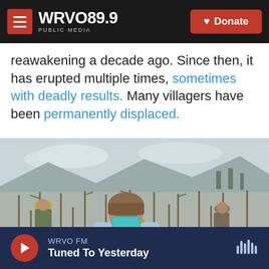WRVO PUBLIC MEDIA 89.9 | Donate
reawakening a decade ago. Since then, it has erupted multiple times, sometimes with deadly results. Many villagers have been permanently displaced.
[Figure (photo): People wearing masks and head coverings working in a field covered in volcanic ash. Wooden stakes are visible throughout the field. A woman in a light blue long-sleeved shirt and teal face mask is prominent in the foreground.]
WRVO FM — Tuned To Yesterday